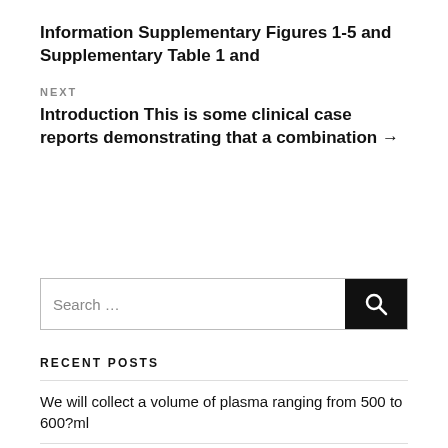Information Supplementary Figures 1-5 and Supplementary Table 1 and
NEXT
Introduction This is some clinical case reports demonstrating that a combination →
[Figure (other): Search box with search icon button]
RECENT POSTS
We will collect a volume of plasma ranging from 500 to 600?ml